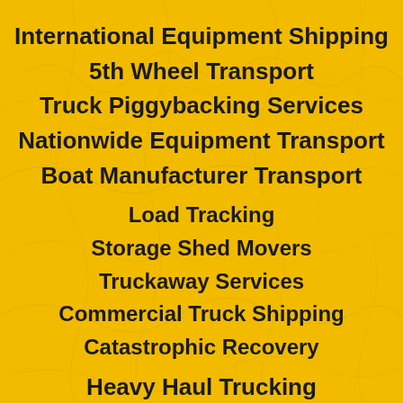International Equipment Shipping
5th Wheel Transport
Truck Piggybacking Services
Nationwide Equipment Transport
Boat Manufacturer Transport
Load Tracking
Storage Shed Movers
Truckaway Services
Commercial Truck Shipping
Catastrophic Recovery
Heavy Haul Trucking